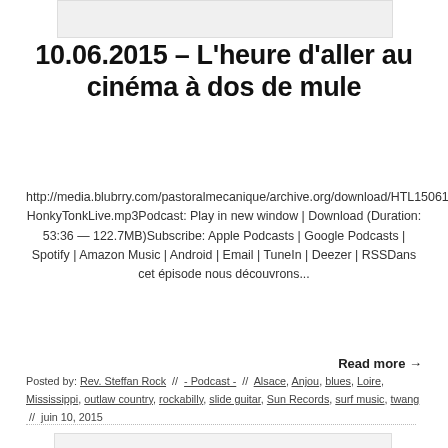[Figure (other): Placeholder image at top of article]
10.06.2015 – L'heure d'aller au cinéma à dos de mule
http://media.blubrry.com/pastoralmecanique/archive.org/download/HTL150610/20150610-HonkyTonkLive.mp3Podcast: Play in new window | Download (Duration: 53:36 — 122.7MB)Subscribe: Apple Podcasts | Google Podcasts | Spotify | Amazon Music | Android | Email | TuneIn | Deezer | RSSDans cet épisode nous découvrons...
Read more →
Posted by: Rev. Steffan Rock  //  - Podcast -  //  Alsace, Anjou, blues, Loire, Mississippi, outlaw country, rockabilly, slide guitar, Sun Records, surf music, twang  //  juin 10, 2015
[Figure (other): Sorry, no image placeholder at bottom]